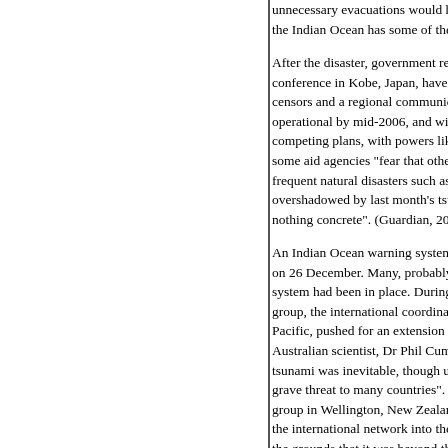unnecessary evacuations would hit their tourist trade. the Indian Ocean has some of the world's most heavily
After the disaster, government representatives meeting conference in Kobe, Japan, have agreed to establish a censors and a regional communications system. It is p operational by mid-2006, and will cost $30 million (£16 competing plans, with powers like the US pushing their some aid agencies "fear that other objectives, such as frequent natural disasters such as floods, typhoons an overshadowed by last month's tsunami and that the co nothing concrete". (Guardian, 20 January)
An Indian Ocean warning system will clearly be too late on 26 December. Many, probably a majority, could hav system had been in place. During the 1990s, scientists group, the international coordination group for the tsun Pacific, pushed for an extension of the system to the Ir Australian scientist, Dr Phil Cummins, presented "evide tsunami was inevitable, though unpredictable in terms grave threat to many countries". In October 2003, at a group in Wellington, New Zealand, Cummings "pushed the international network into the Indian Ocean" but his the grounds that it was beyond the "terms of reference' (Andrew Revkin, How Scientists and Victims Watched Times, 31 December 2004)
The number of 'natural' disasters occurring internationa – from about 100 a year in the early 1960s to around 5 2000s. (Andrew Revkin, The Future of Calamity, New Y Earthquakes and tsunamis have not necessarily becom